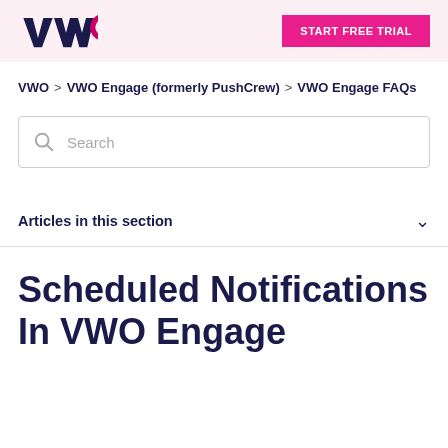VWO | START FREE TRIAL
VWO > VWO Engage (formerly PushCrew) > VWO Engage FAQs
Search
Articles in this section
Scheduled Notifications In VWO Engage